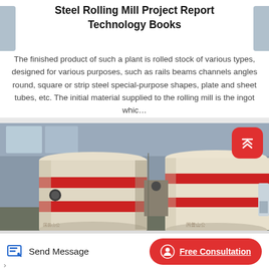Steel Rolling Mill Project Report Technology Books
The finished product of such a plant is rolled stock of various types, designed for various purposes, such as rails beams channels angles round, square or strip steel special-purpose shapes, plate and sheet tubes, etc. The initial material supplied to the rolling mill is the ingot whic…
[Figure (photo): Industrial steel rolling mill machines - large cylindrical cream/yellow colored industrial grinding or milling machines with red stripe bands in a factory setting]
Send Message
Free Consultation